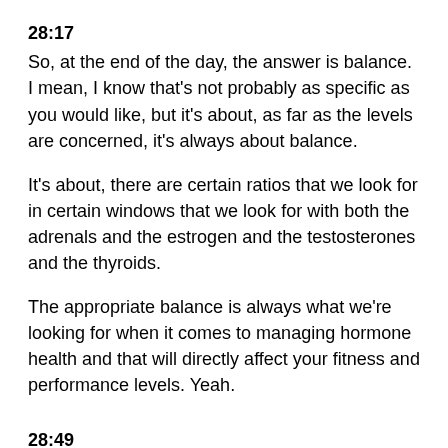28:17
So, at the end of the day, the answer is balance. I mean, I know that's not probably as specific as you would like, but it's about, as far as the levels are concerned, it's always about balance.
It's about, there are certain ratios that we look for in certain windows that we look for with both the adrenals and the estrogen and the testosterones and the thyroids.
The appropriate balance is always what we're looking for when it comes to managing hormone health and that will directly affect your fitness and performance levels. Yeah.
28:49
At the end of it all, basically as we get older, we're able to put on muscle mass or soft tissue handle our, it runs as efficiently as it possibly I believe can through a specific age